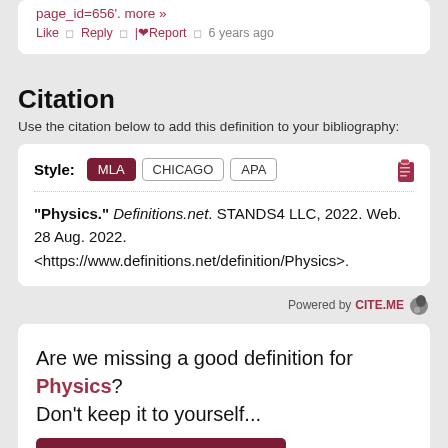page_id=656'. more »
Like ◻ Reply ◻ |Report ◻ 6 years ago
Citation
Use the citation below to add this definition to your bibliography:
Style: MLA CHICAGO APA
"Physics." Definitions.net. STANDS4 LLC, 2022. Web. 28 Aug. 2022. <https://www.definitions.net/definition/Physics>.
Powered by CITE.ME
Are we missing a good definition for Physics? Don't keep it to yourself...
SUBMIT DEFINITION